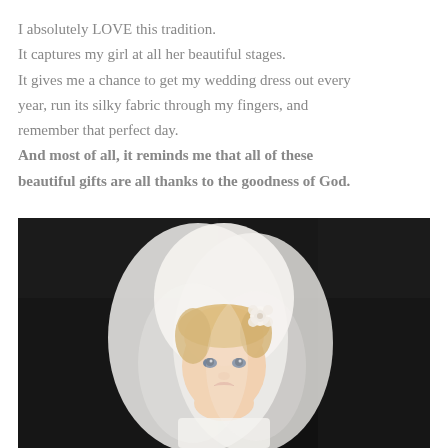I absolutely LOVE this tradition.
It captures my girl at all her beautiful stages.
It gives me a chance to get my wedding dress out every year, run its silky fabric through my fingers, and remember that perfect day.
And most of all, it reminds me that all of these beautiful gifts are all thanks to the goodness of God.
[Figure (photo): A young blonde toddler girl wearing a white wedding veil with flower accent, smiling slightly against a dark/black textured background.]